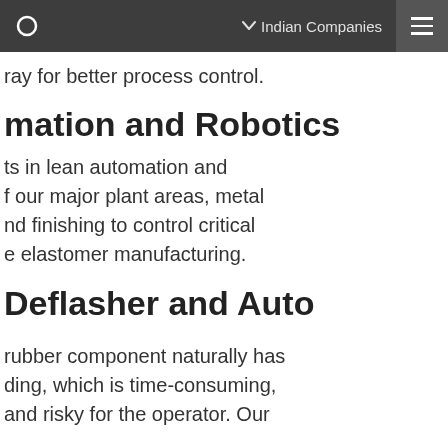Indian Companies
ray for better process control.
mation and Robotics
ts in lean automation and f our major plant areas, metal nd finishing to control critical e elastomer manufacturing.
Deflasher and Auto
rubber component naturally has ding, which is time-consuming, and risky for the operator. Our